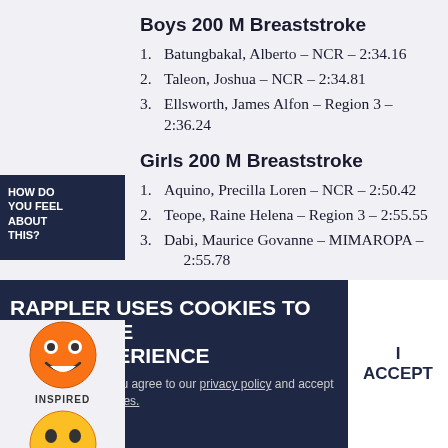Boys 200 M Breaststroke
1. Batungbakal, Alberto – NCR – 2:34.16
2. Taleon, Joshua – NCR – 2:34.81
3. Ellsworth, James Alfon – Region 3 – 2:36.24
Girls 200 M Breaststroke
1. Aquino, Precilla Loren – NCR – 2:50.42
2. Teope, Raine Helena – Region 3 – 2:55.55
3. Dabi, Maurice Govanne – MIMAROPA – 2:55.78
HOW DO YOU FEEL ABOUT THIS?
[Figure (illustration): Orange inspired emoji face]
INSPIRED
[Figure (illustration): Yellow happy/grinning emoji face]
RAPPLER USES COOKIES TO CUSTOMIZE USER EXPERIENCE
By continued use, you agree to our privacy policy and accept our use of such cookies.
I ACCEPT